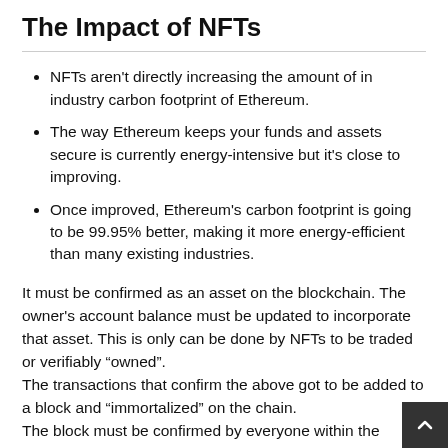The Impact of NFTs
NFTs aren't directly increasing the amount of in industry carbon footprint of Ethereum.
The way Ethereum keeps your funds and assets secure is currently energy-intensive but it's close to improving.
Once improved, Ethereum's carbon footprint is going to be 99.95% better, making it more energy-efficient than many existing industries.
It must be confirmed as an asset on the blockchain. The owner's account balance must be updated to incorporate that asset. This is only can be done by NFTs to be traded or verifiably "owned".
The transactions that confirm the above got to be added to a block and "immortalized" on the chain.
The block must be confirmed by everyone within the network as "correct". This consensus removed the necessity for intermediaries because the network agrees that your NFT is your own and belongs to you. And it's